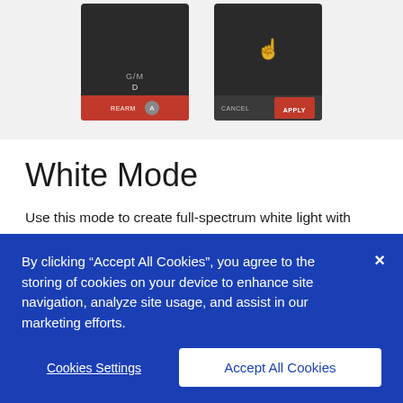[Figure (screenshot): Two mobile app screenshots side by side showing MIXBOOK/MIX LED app controls with dark UI, one showing G/M and D sliders with a red bottom bar, another showing cancel and apply buttons]
White Mode
Use this mode to create full-spectrum white light with MIXBOOK or MIX LED fixtures in any color temperature from 1700K – 10,000K. The myMIX app provides users with control over the intensity, color temperature and green/magenta levels of their white light. Users can manually enter the levels they desire, choose from a number of presets, or use the large, interactive, on-screen “slider” that allows the user to look up at their lighting results – not down at their mobile device – while controlling the light levels with
By clicking “Accept All Cookies”, you agree to the storing of cookies on your device to enhance site navigation, analyze site usage, and assist in our marketing efforts.
Cookies Settings
Accept All Cookies